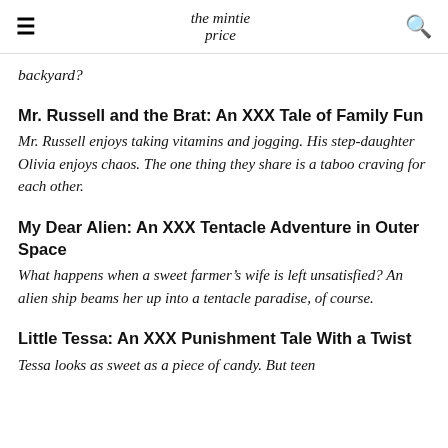≡  the mintie price  🔍
backyard?
Mr. Russell and the Brat: An XXX Tale of Family Fun
Mr. Russell enjoys taking vitamins and jogging. His step-daughter Olivia enjoys chaos. The one thing they share is a taboo craving for each other.
My Dear Alien: An XXX Tentacle Adventure in Outer Space
What happens when a sweet farmer's wife is left unsatisfied? An alien ship beams her up into a tentacle paradise, of course.
Little Tessa: An XXX Punishment Tale With a Twist
Tessa looks as sweet as a piece of candy. But teen